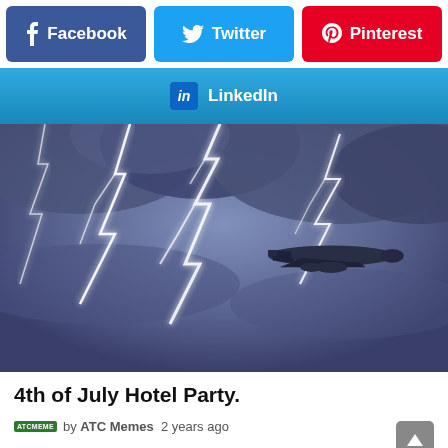[Figure (screenshot): Social share buttons row: Facebook (blue), Twitter (light blue), Pinterest (red)]
[Figure (screenshot): LinkedIn share button row (blue gradient)]
[Figure (photo): Photo of an airplane flying through a stormy sky with dramatic lightning bolts]
4th of July Hotel Party.
by ATC Memes  2 years ago